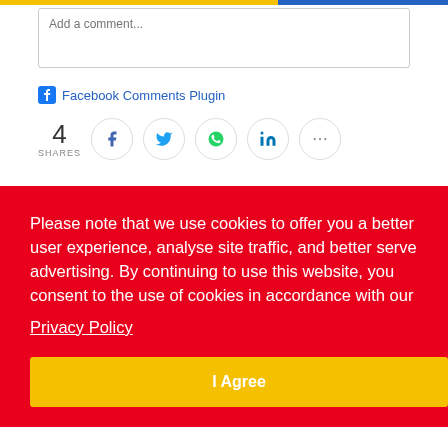Add a comment...
Facebook Comments Plugin
4 SHARES
Please note that we use cookies to offer you a better user experience, analyse site traffic, and better serve advertising. By continuing to use this website, you consent to the use of cookies in accordance with our Privacy Policy
I Agree